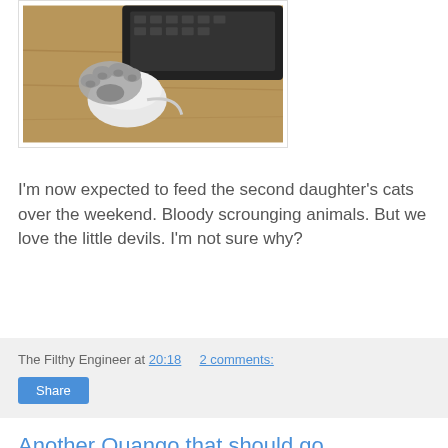[Figure (photo): A cat's paw resting on a computer mouse on a wooden surface, with a black keyboard/device visible in the background.]
I'm now expected to feed the second daughter's cats over the weekend. Bloody scrounging animals. But we love the little devils. I'm not sure why?
The Filthy Engineer at 20:18   2 comments:
Share
Another Quango that should go
the National Centre for Social Research.
From their website: